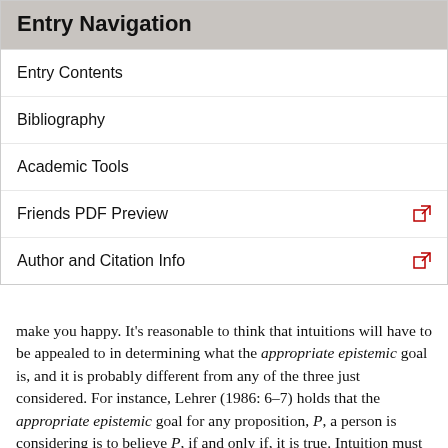Entry Navigation
Entry Contents
Bibliography
Academic Tools
Friends PDF Preview
Author and Citation Info
make you happy. It's reasonable to think that intuitions will have to be appealed to in determining what the appropriate epistemic goal is, and it is probably different from any of the three just considered. For instance, Lehrer (1986: 6–7) holds that the appropriate epistemic goal for any proposition, P, a person is considering is to believe P, if and only if, it is true. Intuition must be relied on to determine that the goal of making a person happy is epistemically irrelevant, that is, that a belief cannot be epistemically justified simply because a person's holding it makes him happy. It also seems counterintuitive to think